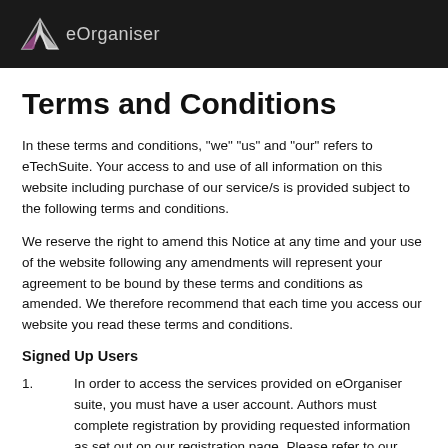eOrganiser
Terms and Conditions
In these terms and conditions, "we" "us" and "our" refers to eTechSuite. Your access to and use of all information on this website including purchase of our service/s is provided subject to the following terms and conditions.
We reserve the right to amend this Notice at any time and your use of the website following any amendments will represent your agreement to be bound by these terms and conditions as amended. We therefore recommend that each time you access our website you read these terms and conditions.
Signed Up Users
1.          In order to access the services provided on eOrganiser suite, you must have a user account. Authors must complete registration by providing requested information as set out on our registration page. Please refer to our Privacy Policy linked on our home page for information relating to our collection, storage and